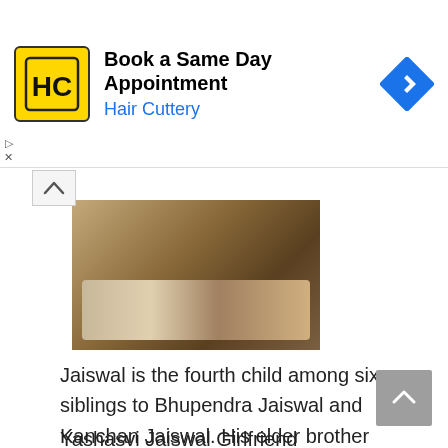[Figure (other): Hair Cuttery advertisement banner with yellow HC logo and blue navigation icon. Text: 'Book a Same Day Appointment' and 'Hair Cuttery']
[Figure (photo): Partial photo showing two people's hands working on something, with blurred background]
Jaiswal is the fourth child among six siblings to Bhupendra Jaiswal and Kanchan Jaiswal. His elder brother named Tejasvi is also an aspiring cricketer who is under training at Madan Lal Cricket Academy located in Delhi. Since childhood, he had a passion for cricket and that brings him Mumbai.
Yashasvi Jaiswal Girlfriend